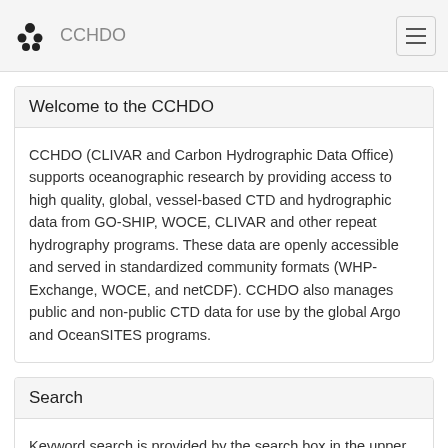CCHDO
Welcome to the CCHDO
CCHDO (CLIVAR and Carbon Hydrographic Data Office) supports oceanographic research by providing access to high quality, global, vessel-based CTD and hydrographic data from GO-SHIP, WOCE, CLIVAR and other repeat hydrography programs. These data are openly accessible and served in standardized community formats (WHP-Exchange, WOCE, and netCDF). CCHDO also manages public and non-public CTD data for use by the global Argo and OceanSITES programs.
Search
Keyword search is provided by the search box in the upper right of the page. Other options include: